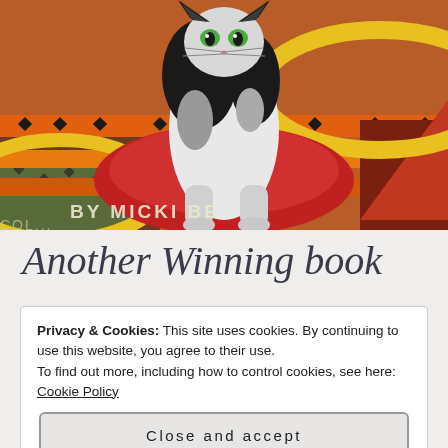[Figure (illustration): Book cover illustration showing a black and white cat standing on a colorful patterned surface with orange, yellow, red and black geometric designs. Text at bottom reads 'BY MICKI BE...' (partially visible). The image is cropped.]
Another Winning book
Privacy & Cookies: This site uses cookies. By continuing to use this website, you agree to their use.
To find out more, including how to control cookies, see here: Cookie Policy
Close and accept